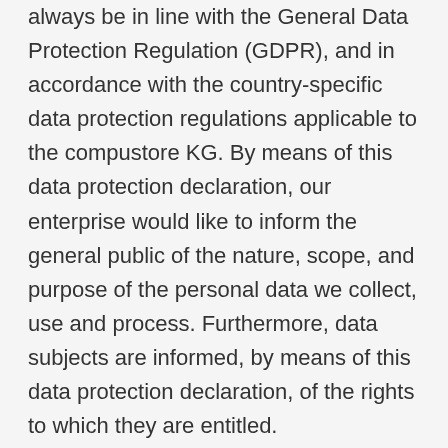always be in line with the General Data Protection Regulation (GDPR), and in accordance with the country-specific data protection regulations applicable to the compustore KG. By means of this data protection declaration, our enterprise would like to inform the general public of the nature, scope, and purpose of the personal data we collect, use and process. Furthermore, data subjects are informed, by means of this data protection declaration, of the rights to which they are entitled.
As the controller, the compustore KG has implemented numerous technical and organizational measures to ensure the most complete protection of personal data processed through this website. However, Internet-based data transmissions may in principle have security gaps, so absolute protection may not be guaranteed. For this reason, every data subject is free to transfer personal data to us via